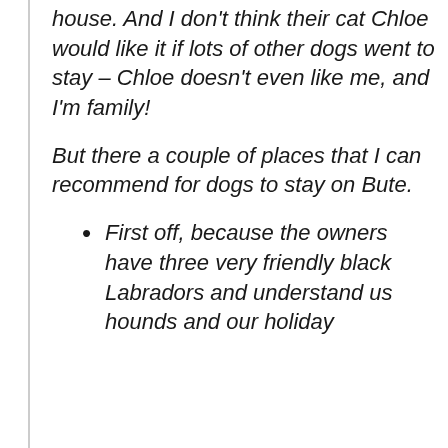house. And I don't think their cat Chloe would like it if lots of other dogs went to stay – Chloe doesn't even like me, and I'm family!
But there a couple of places that I can recommend for dogs to stay on Bute.
First off, because the owners have three very friendly black Labradors and understand us hounds and our holiday